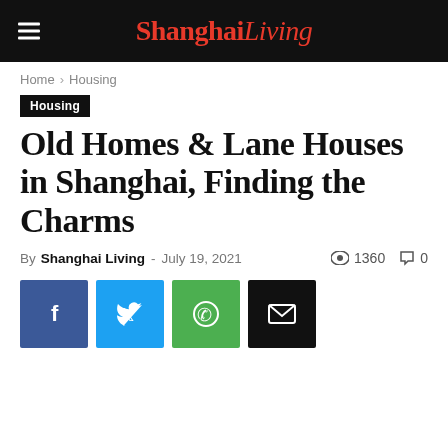Shanghai Living
Home › Housing
Housing
Old Homes & Lane Houses in Shanghai, Finding the Charms
By Shanghai Living - July 19, 2021  1360  0
[Figure (other): Social share buttons: Facebook, Twitter, WhatsApp, Email]